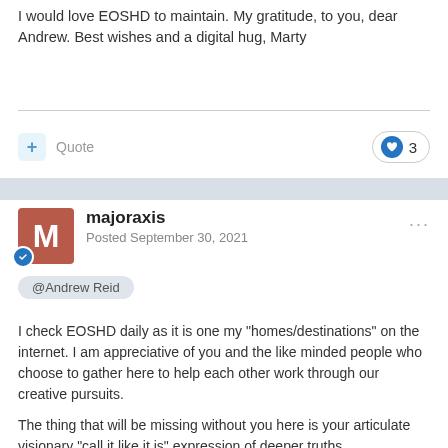I would love EOSHD to maintain. My gratitude, to you, dear Andrew. Best wishes and a digital hug, Marty
Quote  ♥ 3
majoraxis
Posted September 30, 2021
@Andrew Reid
I check EOSHD daily as it is one my "homes/destinations" on the internet. I am appreciative of you and the like minded people who choose to gather here to help each other work through our creative pursuits.

The thing that will be missing without you here is your articulate visionary "call it like it is" expression of deeper truths.

I will follow you to your next passion destination (if you choose to